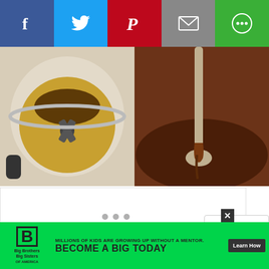[Figure (screenshot): Social share bar with Facebook (blue), Twitter (cyan), Pinterest (red), Email (gray), and More (green) buttons]
[Figure (photo): Two food photos side by side: left shows a blender with cocoa powder added to peanut butter mixture; right shows a spoon lifting chocolate sauce from a blender jar]
[Figure (screenshot): White content/carousel area with three gray dots indicating carousel pagination]
[Figure (screenshot): Scroll popup card on right side with text 'roll to on' and weather icon]
[Figure (screenshot): Advertisement banner: Big Brothers Big Sisters - MILLIONS OF KIDS ARE GROWING UP WITHOUT A MENTOR. BECOME A BIG TODAY. Learn How button. Green background with close X.]